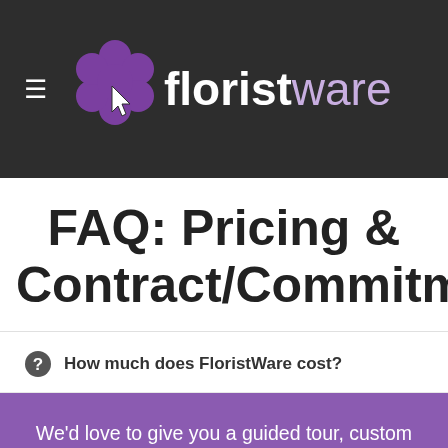floristware
FAQ: Pricing & Contract/Commitment
How much does FloristWare cost?
We'd love to give you a guided tour, custom tailored to your specific needs. Please get in touch.